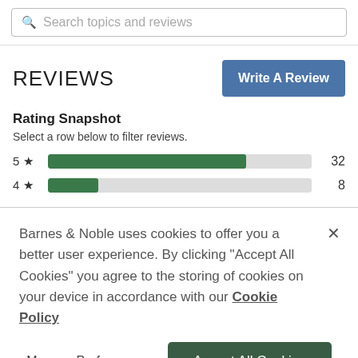Search topics and reviews
REVIEWS
Rating Snapshot
Select a row below to filter reviews.
[Figure (bar-chart): Rating Snapshot]
Barnes & Noble uses cookies to offer you a better user experience. By clicking "Accept All Cookies" you agree to the storing of cookies on your device in accordance with our Cookie Policy
Manage Preferences
Accept All Cookies